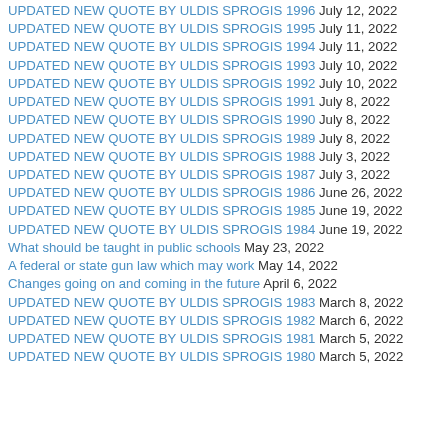UPDATED NEW QUOTE BY ULDIS SPROGIS 1996 July 12, 2022
UPDATED NEW QUOTE BY ULDIS SPROGIS 1995 July 11, 2022
UPDATED NEW QUOTE BY ULDIS SPROGIS 1994 July 11, 2022
UPDATED NEW QUOTE BY ULDIS SPROGIS 1993 July 10, 2022
UPDATED NEW QUOTE BY ULDIS SPROGIS 1992 July 10, 2022
UPDATED NEW QUOTE BY ULDIS SPROGIS 1991 July 8, 2022
UPDATED NEW QUOTE BY ULDIS SPROGIS 1990 July 8, 2022
UPDATED NEW QUOTE BY ULDIS SPROGIS 1989 July 8, 2022
UPDATED NEW QUOTE BY ULDIS SPROGIS 1988 July 3, 2022
UPDATED NEW QUOTE BY ULDIS SPROGIS 1987 July 3, 2022
UPDATED NEW QUOTE BY ULDIS SPROGIS 1986 June 26, 2022
UPDATED NEW QUOTE BY ULDIS SPROGIS 1985 June 19, 2022
UPDATED NEW QUOTE BY ULDIS SPROGIS 1984 June 19, 2022
What should be taught in public schools May 23, 2022
A federal or state gun law which may work May 14, 2022
Changes going on and coming in the future April 6, 2022
UPDATED NEW QUOTE BY ULDIS SPROGIS 1983 March 8, 2022
UPDATED NEW QUOTE BY ULDIS SPROGIS 1982 March 6, 2022
UPDATED NEW QUOTE BY ULDIS SPROGIS 1981 March 5, 2022
UPDATED NEW QUOTE BY ULDIS SPROGIS 1980 March 5, 2022